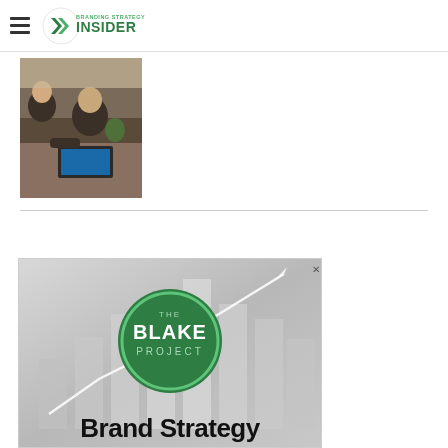Branding Strategy Insider
[Figure (photo): People working on laptops at a cafe or co-working space, viewed from above/behind]
[Figure (logo): The Blake Project - Brand Strategy ad banner with green circle logo, bar chart background and 'Brand Strategy' text at bottom]